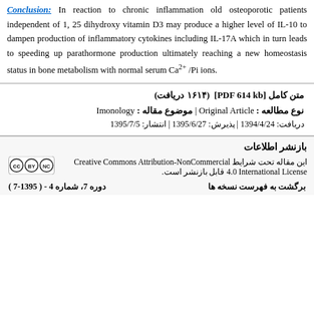Conclusion: In reaction to chronic inflammation old osteoporotic patients independent of 1, 25 dihydroxy vitamin D3 may produce a higher level of IL-10 to dampen production of inflammatory cytokines including IL-17A which in turn leads to speeding up parathormone production ultimately reaching a new homeostasis status in bone metabolism with normal serum Ca2+ /Pi ions.
متن کامل [PDF 614 kb]  (۱۶۱۴ دریافت)
نوع مطالعه : Original Article | موضوع مقاله : Imonology
دریافت: 1394/4/24 | پذیرش: 1395/6/27 | انتشار: 1395/7/5
بازنشر اطلاعات
این مقاله تحت شرایط Creative Commons Attribution-NonCommercial 4.0 International License قابل بازنشر است.
دوره 7، شماره 4 - ( 1395-7 )    برگشت به فهرست نسخه ها